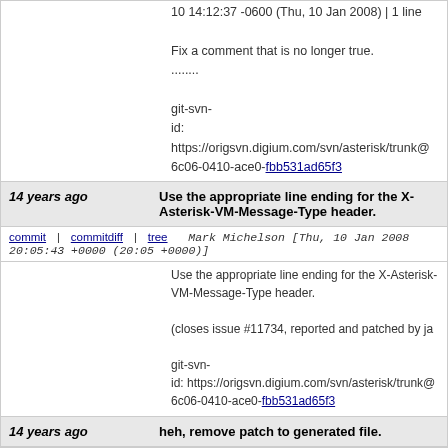10 14:12:37 -0600 (Thu, 10 Jan 2008) | 1 line

Fix a comment that is no longer true.
........

git-svn-id: https://origsvn.digium.com/svn/asterisk/trunk@6c06-0410-ace0-fbb531ad65f3
14 years ago   Use the appropriate line ending for the X-Asterisk-VM-Message-Type header.
commit | commitdiff | tree   Mark Michelson [Thu, 10 Jan 2008 20:05:43 +0000 (20:05 +0000)]
Use the appropriate line ending for the X-Asterisk-VM-Message-Type header.

(closes issue #11734, reported and patched by ja

git-svn-id: https://origsvn.digium.com/svn/asterisk/trunk@6c06-0410-ace0-fbb531ad65f3
14 years ago   heh, remove patch to generated file.
commit | commitdiff | tree   Terry Wilson [Thu, 10 Jan 2008 19:07:36 +0000 (19:07 +0000)]